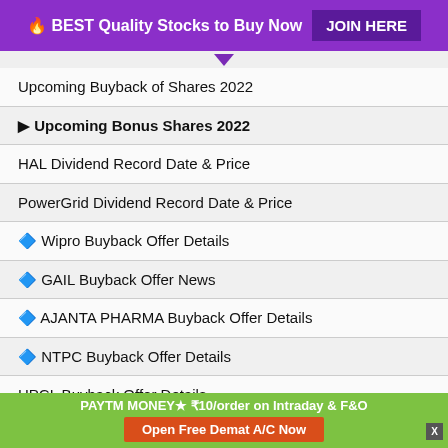🔥 BEST Quality Stocks to Buy Now   JOIN HERE
Upcoming Buyback of Shares 2022
▶ Upcoming Bonus Shares 2022
HAL Dividend Record Date & Price
PowerGrid Dividend Record Date & Price
🔷 Wipro Buyback Offer Details
🔷 GAIL Buyback Offer News
🔷 AJANTA PHARMA Buyback Offer Details
🔷 NTPC Buyback Offer Details
HPCL Buyback Offer Details
NMDC Buyback Offer Details
PAYTM MONEY★ ₹10/order on Intraday & F&O  Open Free Demat A/C Now